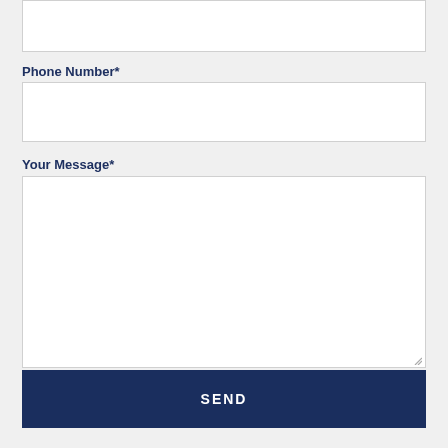[Figure (screenshot): Top portion of a form input field (partially visible at top of page)]
Phone Number*
[Figure (screenshot): Empty text input field for Phone Number]
Your Message*
[Figure (screenshot): Empty textarea input field for Your Message with resize handle]
SEND